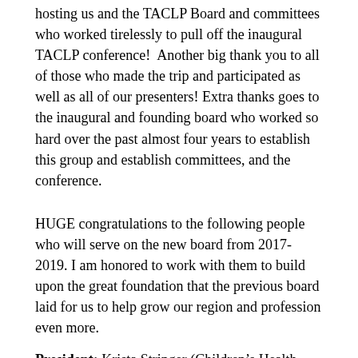hosting us and the TACLP Board and committees who worked tirelessly to pull off the inaugural TACLP conference!  Another big thank you to all of those who made the trip and participated as well as all of our presenters! Extra thanks goes to the inaugural and founding board who worked so hard over the past almost four years to establish this group and establish committees, and the conference.
HUGE congratulations to the following people who will serve on the new board from 2017-2019. I am honored to work with them to build upon the great foundation that the previous board laid for us to help grow our region and profession even more.
President: Krista Stringer (Children's Health, Dallas)
Treasurer: Christy Lange (Children's Memorial